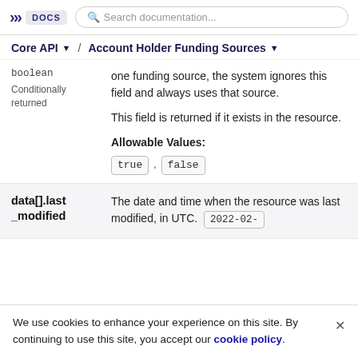DOCS | Search documentation...
Core API / Account Holder Funding Sources
boolean
Conditionally returned
one funding source, the system ignores this field and always uses that source.
This field is returned if it exists in the resource.
Allowable Values:
true , false
data[].last_modified
The date and time when the resource was last modified, in UTC. 2022-02-
We use cookies to enhance your experience on this site. By continuing to use this site, you accept our cookie policy.